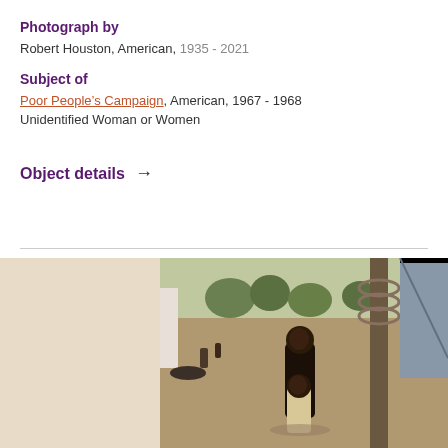Photograph by
Robert Houston, American, 1935 - 2021
Subject of
Poor People’s Campaign, American, 1967 - 1968
Unidentified Woman or Women
Object details →
[Figure (photo): Outdoor photograph showing two figures (a woman and a child) in front of a tree and a corrugated metal structure, with trees and people visible in the background. Warm sepia/color tones.]